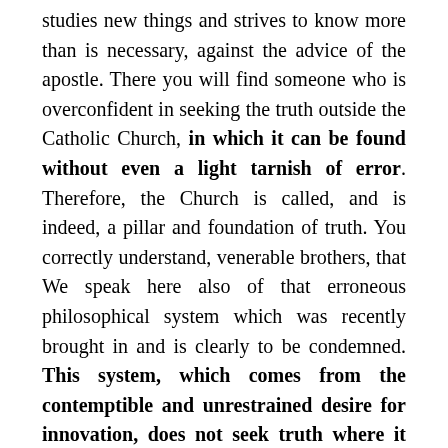studies new things and strives to know more than is necessary, against the advice of the apostle. There you will find someone who is overconfident in seeking the truth outside the Catholic Church, in which it can be found without even a light tarnish of error. Therefore, the Church is called, and is indeed, a pillar and foundation of truth. You correctly understand, venerable brothers, that We speak here also of that erroneous philosophical system which was recently brought in and is clearly to be condemned. This system, which comes from the contemptible and unrestrained desire for innovation, does not seek truth where it stands in the received and holy apostolic inheritance. Rather, other empty